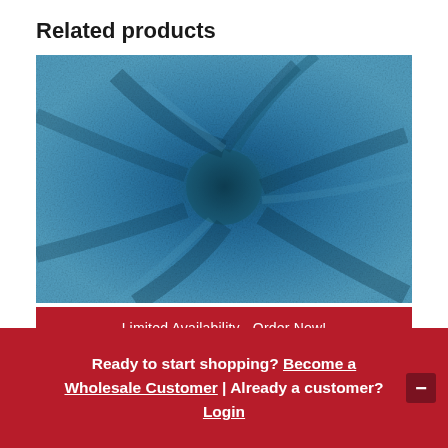Related products
[Figure (photo): Close-up photo of teal/blue Liverpool solid fabric with textured crepe surface, twisted in the center creating a swirl pattern. Below the fabric image is a dark red banner with white text reading 'Limited Availability - Order Now!']
Liverpool Solid Teal
Ready to start shopping? Become a Wholesale Customer | Already a customer? Login